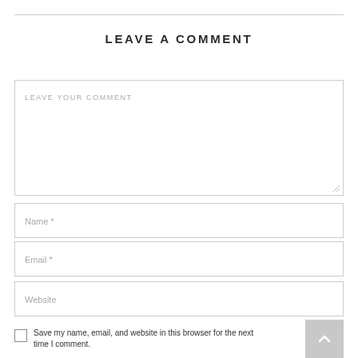LEAVE A COMMENT
LEAVE YOUR COMMENT
Name *
Email *
Website
Save my name, email, and website in this browser for the next time I comment.